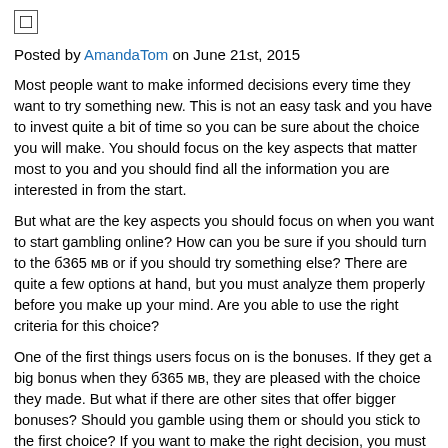[Figure (other): Small checkbox or icon square symbol]
Posted by AmandaTom on June 21st, 2015
Most people want to make informed decisions every time they want to try something new. This is not an easy task and you have to invest quite a bit of time so you can be sure about the choice you will make. You should focus on the key aspects that matter most to you and you should find all the information you are interested in from the start.
But what are the key aspects you should focus on when you want to start gambling online? How can you be sure if you should turn to the б365 мв or if you should try something else? There are quite a few options at hand, but you must analyze them properly before you make up your mind. Are you able to use the right criteria for this choice?
One of the first things users focus on is the bonuses. If they get a big bonus when they б365 мв, they are pleased with the choice they made. But what if there are other sites that offer bigger bonuses? Should you gamble using them or should you stick to the first choice? If you want to make the right decision, you must consider other things as well.